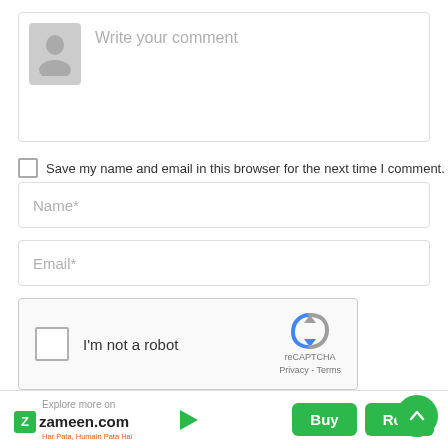[Figure (screenshot): Comment input box with a grey avatar/profile icon on the left and placeholder text 'Write your comment' on the right, all inside a bordered rectangle]
Save my name and email in this browser for the next time I comment.
[Figure (screenshot): Name* input field, empty text box with placeholder 'Name*']
[Figure (screenshot): Email* input field, empty text box with placeholder 'Email*']
[Figure (screenshot): reCAPTCHA widget with checkbox, 'I'm not a robot' text, and reCAPTCHA logo with Privacy - Terms links]
[Figure (screenshot): POST COMMENT blue button with green scroll-to-top arrow button overlapping on the right]
[Figure (screenshot): Footer bar: Zameen.com logo with 'Explore more on' text and tagline 'Har Pata, Humain Pata Hai', play button in center, Buy and Rent green buttons on right]